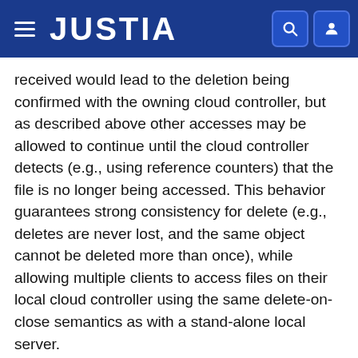JUSTIA
received would lead to the deletion being confirmed with the owning cloud controller, but as described above other accesses may be allowed to continue until the cloud controller detects (e.g., using reference counters) that the file is no longer being accessed. This behavior guarantees strong consistency for delete (e.g., deletes are never lost, and the same object cannot be deleted more than once), while allowing multiple clients to access files on their local cloud controller using the same delete-on-close semantics as with a stand-alone local server.
In some embodiments, a rename operation for a distributed filesystem is a namespace operation that logically combines the deletion of an existing filesystem object and the creation of a new filesystem object into a single atomic operation. More specifically, a requesting